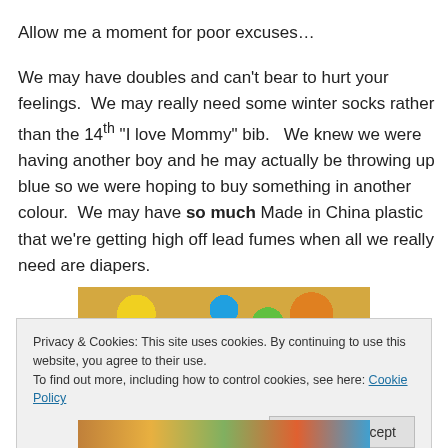Allow me a moment for poor excuses…
We may have doubles and can't bear to hurt your feelings.  We may really need some winter socks rather than the 14th "I love Mommy" bib.   We knew we were having another boy and he may actually be throwing up blue so we were hoping to buy something in another colour.  We may have so much Made in China plastic that we're getting high off lead fumes when all we really need are diapers.
[Figure (photo): A colorful pile of children's toys, plastic items in various bright colors]
Privacy & Cookies: This site uses cookies. By continuing to use this website, you agree to their use.
To find out more, including how to control cookies, see here: Cookie Policy
Close and accept